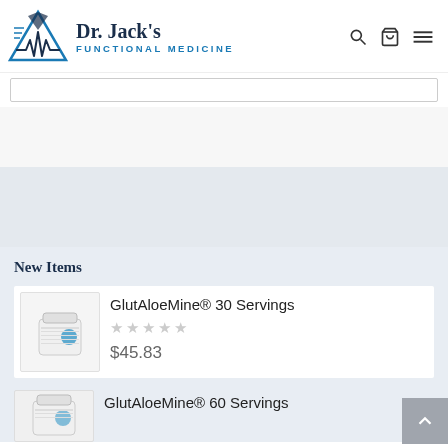[Figure (logo): Dr. Jack's Functional Medicine logo with mountain/heartbeat graphic and brand name]
New Items
GlutAloeMine® 30 Servings
$45.83
GlutAloeMine® 60 Servings